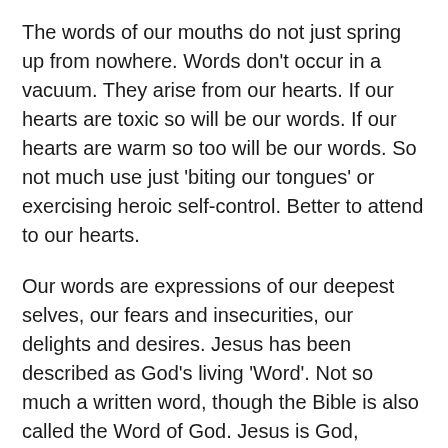The words of our mouths do not just spring up from nowhere. Words don’t occur in a vacuum. They arise from our hearts. If our hearts are toxic so will be our words. If our hearts are warm so too will be our words. So not much use just ‘biting our tongues’ or exercising heroic self-control. Better to attend to our hearts.
Our words are expressions of our deepest selves, our fears and insecurities, our delights and desires. Jesus has been described as God’s living ‘Word’. Not so much a written word, though the Bible is also called the Word of God. Jesus is God, walking, talking, breathing deity. He is the fullest expression of God.
Jesus is not only the Word of God but speaks words from God. They are encouraging and true words